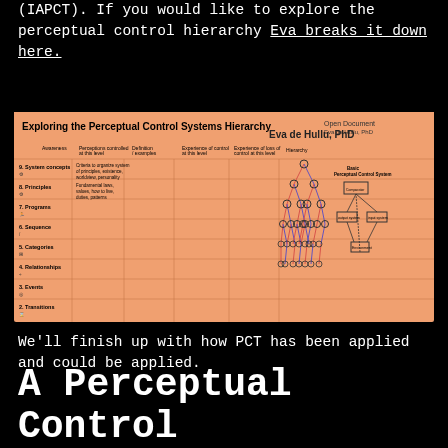(IAPCT). If you would like to explore the perceptual control hierarchy Eva breaks it down here.
[Figure (infographic): Infographic titled 'Exploring the Perceptual Control Systems Hierarchy' by Eva de Hullu, PhD. A wide table-style diagram with an orange/salmon background showing 9 levels of perceptual control systems (System concepts, Principles, Programs, Sequence, Categories, Relationships, Events, Transitions) with columns for perceptual control at this level, definition/examples, experience of control at this level, experience of loss of control at this level, hierarchy diagram, and a basic perceptual control systems diagram on the right side.]
We'll finish up with how PCT has been applied and could be applied.
A Perceptual Control